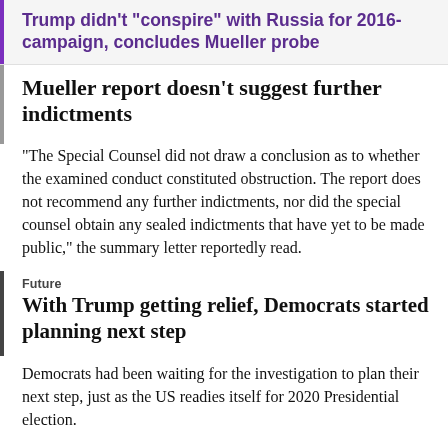Trump didn't "conspire" with Russia for 2016-campaign, concludes Mueller probe
Mueller report doesn't suggest further indictments
"The Special Counsel did not draw a conclusion as to whether the examined conduct constituted obstruction. The report does not recommend any further indictments, nor did the special counsel obtain any sealed indictments that have yet to be made public," the summary letter reportedly read.
Future
With Trump getting relief, Democrats started planning next step
Democrats had been waiting for the investigation to plan their next step, just as the US readies itself for 2020 Presidential election.
Though Barr spoke about confidentiality while releasing the...